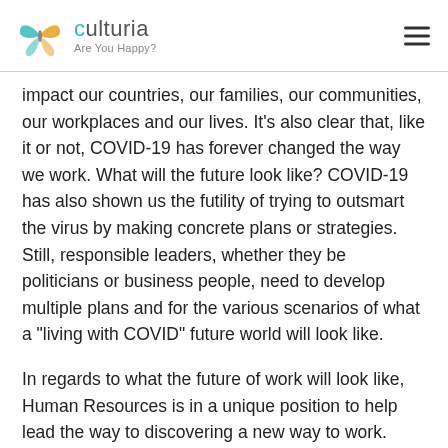culturia — Are You Happy?
impact our countries, our families, our communities, our workplaces and our lives. It’s also clear that, like it or not, COVID-19 has forever changed the way we work. What will the future look like? COVID-19 has also shown us the futility of trying to outsmart the virus by making concrete plans or strategies. Still, responsible leaders, whether they be politicians or business people, need to develop multiple plans and for the various scenarios of what a “living with COVID” future world will look like.
In regards to what the future of work will look like, Human Resources is in a unique position to help lead the way to discovering a new way to work. While it’s true that there’s no “one size fits all” approach and companies will need to adapt to changes based on their geographic location, industry,